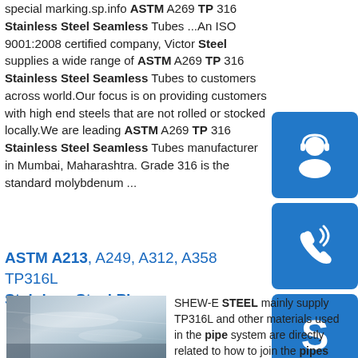special marking.sp.info ASTM A269 TP 316 Stainless Steel Seamless Tubes ...An ISO 9001:2008 certified company, Victor Steel supplies a wide range of ASTM A269 TP 316 Stainless Steel Seamless Tubes to customers across world.Our focus is on providing customers with high end steels that are not rolled or stocked locally.We are leading ASTM A269 TP 316 Stainless Steel Seamless Tubes manufacturer in Mumbai, Maharashtra. Grade 316 is the standard molybdenum ...
[Figure (illustration): Blue square icon with white customer service / headset person icon]
[Figure (illustration): Blue square icon with white phone / call icon]
[Figure (illustration): Blue square icon with white Skype 'S' logo icon]
ASTM A213, A249, A312, A358 TP316L Stainless Steel Pipe ...
[Figure (photo): Photo of stainless steel sheet/plate with reflective surface in an industrial setting]
SHEW-E STEEL mainly supply TP316L and other materials used in the pipe system are directly related to how to join the pipes and what types of pressure